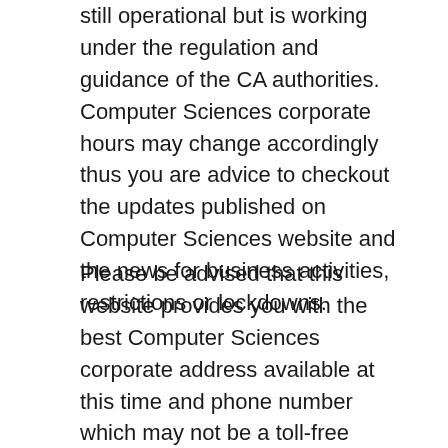still operational but is working under the regulation and guidance of the CA authorities. Computer Sciences corporate hours may change accordingly thus you are advice to checkout the updates published on Computer Sciences website and the news for business activities, restrictions or lockdowns.
Please be advised that this website provides you with the best Computer Sciences corporate address available at this time and phone number which may not be a toll-free phone number thus you may be charged by your communication provider with your phone